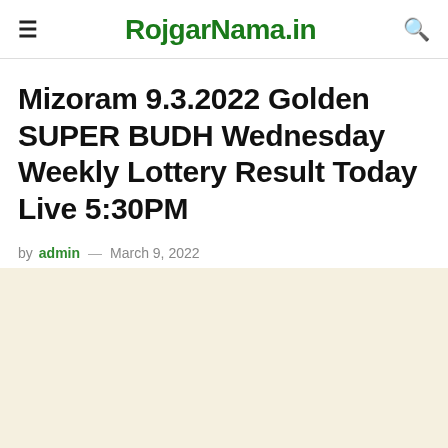RojgarNama.in
Mizoram 9.3.2022 Golden SUPER BUDH Wednesday Weekly Lottery Result Today Live 5:30PM
by admin — March 9, 2022
[Figure (other): Advertisement banner area with light beige/cream background]